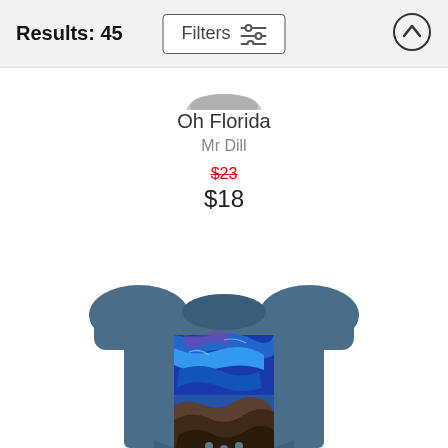Results: 45
Filters
Oh Florida
Mr Dill
$23 (strikethrough)
$18
[Figure (photo): Blue infant onesie/bodysuit with a colorful abstract painting print on the front showing blue ocean/sky tones with rocky/earthy dark tones at the bottom]